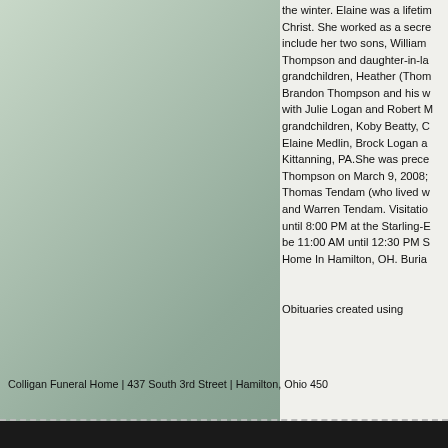the winter. Elaine was a lifetim Christ. She worked as a secre include her two sons, William Thompson and daughter-in-la grandchildren, Heather (Thom Brandon Thompson and his w with Julie Logan and Robert M grandchildren, Koby Beatty, C Elaine Medlin, Brock Logan a Kittanning, PA.She was prece Thompson on March 9, 2008; Thomas Tendam (who lived w and Warren Tendam. Visitatio until 8:00 PM at the Starling-E be 11:00 AM until 12:30 PM S Home In Hamilton, OH. Buria
Obituaries created using
Colligan Funeral Home | 437 South 3rd Street | Hamilton, Ohio 450